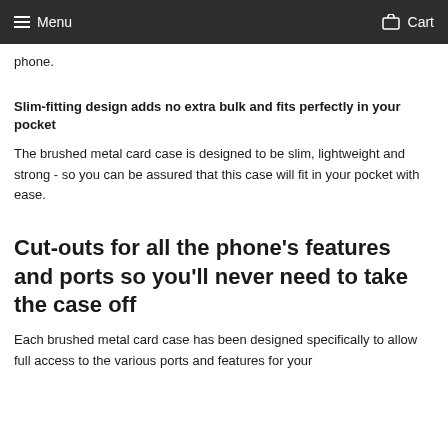Menu  Cart
phone.
Slim-fitting design adds no extra bulk and fits perfectly in your pocket
The brushed metal card case is designed to be slim, lightweight and strong - so you can be assured that this case will fit in your pocket with ease.
Cut-outs for all the phone's features and ports so you'll never need to take the case off
Each brushed metal card case has been designed specifically to allow full access to the various ports and features for your